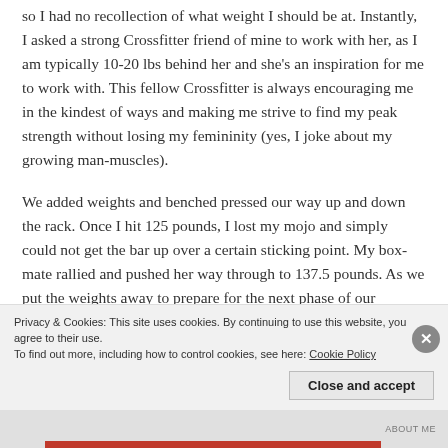so I had no recollection of what weight I should be at. Instantly, I asked a strong Crossfitter friend of mine to work with her, as I am typically 10-20 lbs behind her and she's an inspiration for me to work with. This fellow Crossfitter is always encouraging me in the kindest of ways and making me strive to find my peak strength without losing my femininity (yes, I joke about my growing man-muscles).
We added weights and benched pressed our way up and down the rack. Once I hit 125 pounds, I lost my mojo and simply could not get the bar up over a certain sticking point. My box-mate rallied and pushed her way through to 137.5 pounds. As we put the weights away to prepare for the next phase of our workout, I started to allow
Privacy & Cookies: This site uses cookies. By continuing to use this website, you agree to their use.
To find out more, including how to control cookies, see here: Cookie Policy
Close and accept